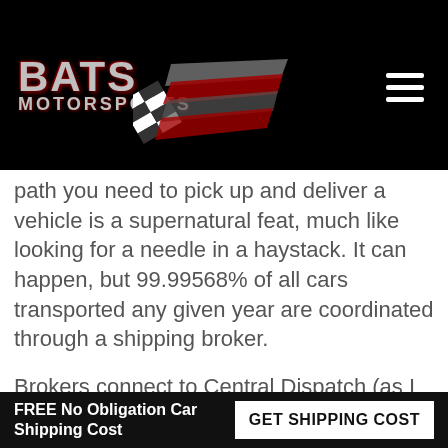BATS MOTORSPORTS
path you need to pick up and deliver a vehicle is a supernatural feat, much like looking for a needle in a haystack. It can happen, but 99.99568% of all cars transported any given year are coordinated through a shipping broker.
Brokers connect to Central Dispatch (as I explained above) and work with the trucker drivers, finding (hopefully) the best available transport along the exact path required to pick
FREE No Obligation Car Shipping Cost | GET SHIPPING COST